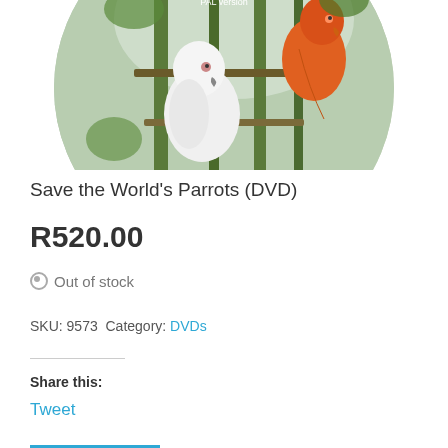[Figure (photo): Circular DVD disc image showing parrots (white cockatoo and orange/red bird) perched on branches, with text overlay: 'by Peter Odekerken © Email: pkt.odekerken@telgmail.com PAL version']
Save the World's Parrots (DVD)
R520.00
Out of stock
SKU: 9573 Category: DVDs
Share this:
Tweet